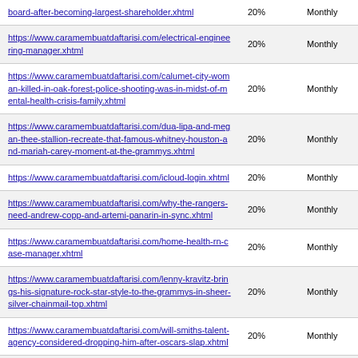| board-after-becoming-largest-shareholder.xhtml | 20% | Monthly |
| https://www.caramembuatdaftarisi.com/electrical-engineering-manager.xhtml | 20% | Monthly |
| https://www.caramembuatdaftarisi.com/calumet-city-woman-killed-in-oak-forest-police-shooting-was-in-midst-of-mental-health-crisis-family.xhtml | 20% | Monthly |
| https://www.caramembuatdaftarisi.com/dua-lipa-and-megan-thee-stallion-recreate-that-famous-whitney-houston-and-mariah-carey-moment-at-the-grammys.xhtml | 20% | Monthly |
| https://www.caramembuatdaftarisi.com/icloud-login.xhtml | 20% | Monthly |
| https://www.caramembuatdaftarisi.com/why-the-rangers-need-andrew-copp-and-artemi-panarin-in-sync.xhtml | 20% | Monthly |
| https://www.caramembuatdaftarisi.com/home-health-rn-case-manager.xhtml | 20% | Monthly |
| https://www.caramembuatdaftarisi.com/lenny-kravitz-brings-his-signature-rock-star-style-to-the-grammys-in-sheer-silver-chainmail-top.xhtml | 20% | Monthly |
| https://www.caramembuatdaftarisi.com/will-smiths-talent-agency-considered-dropping-him-after-oscars-slap.xhtml | 20% | Monthly |
| https://www.caramembuatdaftarisi.com/sr-software-engineer-gui.xhtml | 20% | Monthly |
| https://www.caramembuatdaftarisi.com/thieves-use-sledgehammer-to-break-into-hinsdale-marcus-store-steal-30k-in-handbags.xhtml | 20% | Monthly |
| https://www.caramembuatdaftarisi.com/billie-eilish-pays-... | 20% | Monthly |